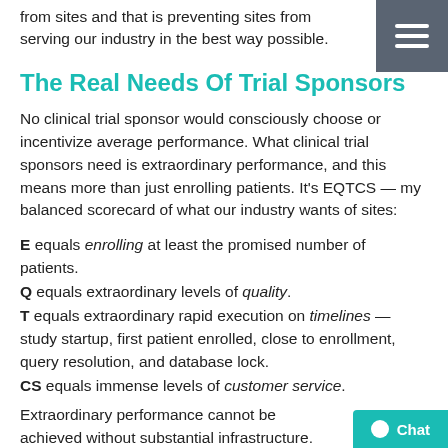from sites and that is preventing sites from serving our industry in the best way possible.
The Real Needs Of Trial Sponsors
No clinical trial sponsor would consciously choose or incentivize average performance. What clinical trial sponsors need is extraordinary performance, and this means more than just enrolling patients. It's EQTCS — my balanced scorecard of what our industry wants of sites:
E equals enrolling at least the promised number of patients.
Q equals extraordinary levels of quality.
T equals extraordinary rapid execution on timelines — study startup, first patient enrolled, close to enrollment, query resolution, and database lock.
CS equals immense levels of customer service.
Extraordinary performance cannot be achieved without substantial infrastructure. Infrastructure requires